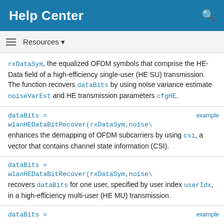Help Center
rxDataSym, the equalized OFDM symbols that comprise the HE-Data field of a high-efficiency single-user (HE SU) transmission. The function recovers dataBits by using noise variance estimate noiseVarEst and HE transmission parameters cfgHE.
dataBits =
wlanHEDataBitRecover(rxDataSym,noise\
enhances the demapping of OFDM subcarriers by using csi, a vector that contains channel state information (CSI).
dataBits =
wlanHEDataBitRecover(rxDataSym,noise\
recovers dataBits for one user, specified by user index userIdx, in a high-efficiency multi-user (HE MU) transmission.
dataBits =